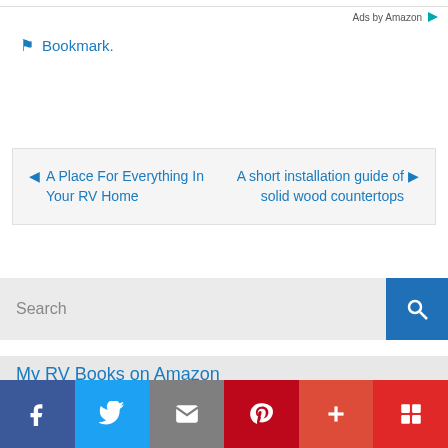Ads by Amazon
Bookmark.
◄ A Place For Everything In Your RV Home
A short installation guide of solid wood countertops ►
Search
My RV Books on Amazon
f  Twitter  Email  Pinterest  +  Flipboard